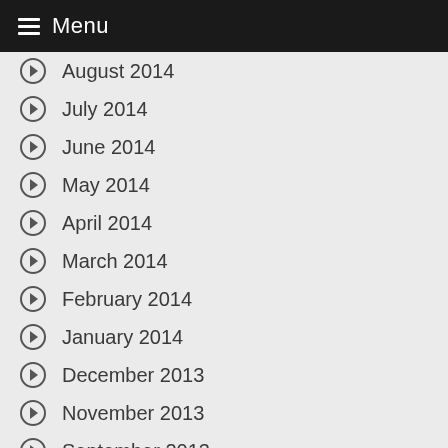Menu
August 2014
July 2014
June 2014
May 2014
April 2014
March 2014
February 2014
January 2014
December 2013
November 2013
September 2013
August 2013
July 2013
June 2013
May 2013